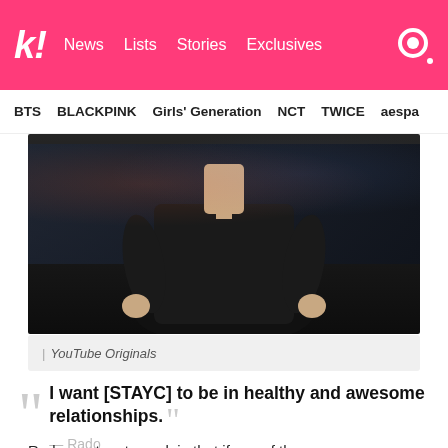k! | News  Lists  Stories  Exclusives
BTS  BLACKPINK  Girls' Generation  NCT  TWICE  aespa
[Figure (photo): Person in black t-shirt with dark background, appearing to be at a venue]
| YouTube Originals
I want [STAYC] to be in healthy and awesome relationships. — Rado
Rado went on to explain that if any of the